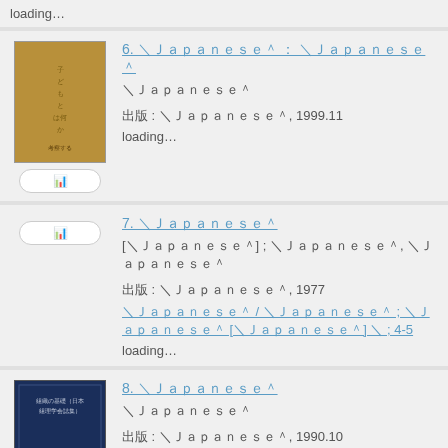loading…
6. ＜Japanese text＞
＜Japanese text＞
出版 : ＜Japanese text＞, 1999.11
loading…
7. ＜Japanese text＞
[＜Japanese text＞] ; ＜Japanese text＞, ＜Japanese text＞
出版 : ＜Japanese text＞, 1977
＜Japanese text＞ / ＜Japanese text＞ ; ＜Japanese text＞ [＜Japanese text＞] ＜Japanese text＞ ; 4-5
loading…
8. ＜Japanese text＞
＜Japanese text＞
出版 : ＜Japanese text＞, 1990.10
＜Japanese text＞ ; 25
loading…
updating availability status information…
9. ＜Japanese text＞ : ＜Japanese text＞, ＜Japanese text＞